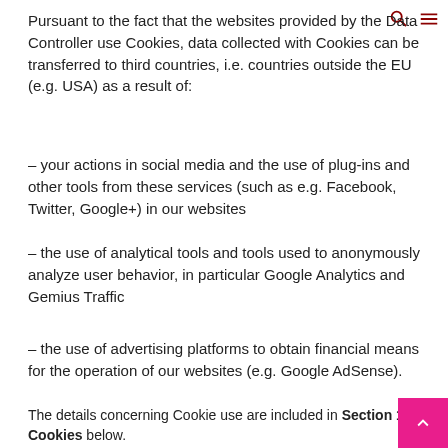Pursuant to the fact that the websites provided by the Data Controller use Cookies, data collected with Cookies can be transferred to third countries, i.e. countries outside the EU (e.g. USA) as a result of:
– your actions in social media and the use of plug-ins and other tools from these services (such as e.g. Facebook, Twitter, Google+) in our websites
– the use of analytical tools and tools used to anonymously analyze user behavior, in particular Google Analytics and Gemius Traffic
– the use of advertising platforms to obtain financial means for the operation of our websites (e.g. Google AdSense).
The details concerning Cookie use are included in Section 10. Cookies below.
6. DATA PROCESSING TIME
Your data processing time depends on the purpose for which the data is being processed. The Data Controller shall process your data for a specific period of time.